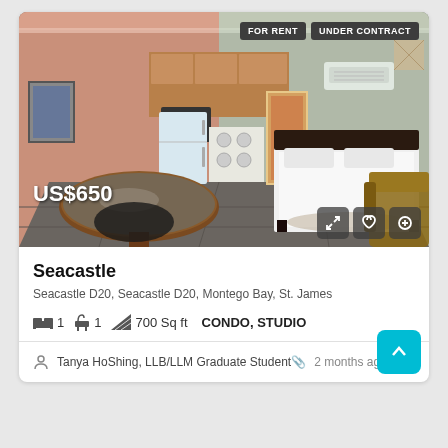[Figure (photo): Interior photo of a studio condo showing dining table, kitchen area with wooden cabinets and appliances, a bed with white sheets, and a brown sofa. Price badge US$650 at bottom left. Status badges FOR RENT and UNDER CONTRACT at top right.]
Seacastle
Seacastle D20, Seacastle D20, Montego Bay, St. James
1  1  700 Sq ft  CONDO, STUDIO
Tanya HoShing, LLB/LLM Graduate Student  2 months ago